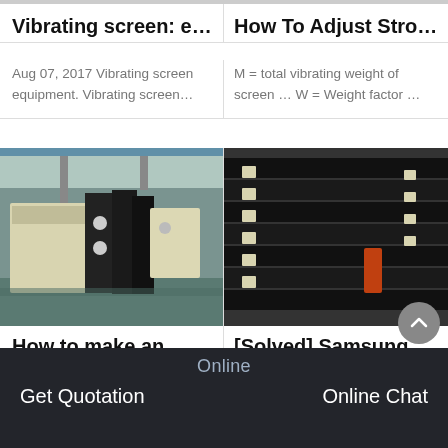Vibrating screen: e...
Aug 07, 2017 Vibrating screen equipment. Vibrating screen...
How To Adjust Stro...
M = total vibrating weight of screen ... W = Weight factor ...
[Figure (photo): Industrial vibrating screen equipment in a factory setting, cream/black colored machinery]
[Figure (photo): Close-up of stacked black and cream vibrating screen panels/parts]
How to make an An...
Jun 07, 2019 This example demonstrate about How to...
[Solved] Samsung...
Aug 30, 2019 Download, install and launch the Androi...
Online
Get Quotation    Online Chat